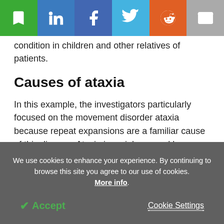[Figure (other): Social sharing toolbar with bookmark (green), LinkedIn (blue), Facebook (dark blue), Twitter (light blue), Reddit (orange), and email (grey) icon buttons]
condition in children and other relatives of patients.
Causes of ataxia
In this example, the investigators particularly focused on the movement disorder ataxia because repeat expansions are a familiar cause of this disease. Ataxia is mainly caused by damage or disease of the cerebellum.
We use cookies to enhance your experience. By continuing to browse this site you agree to our use of cookies. More info.
✔ Accept   Cookie Settings